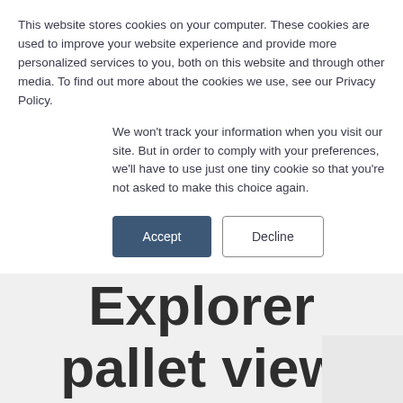This website stores cookies on your computer. These cookies are used to improve your website experience and provide more personalized services to you, both on this website and through other media. To find out more about the cookies we use, see our Privacy Policy.
We won't track your information when you visit our site. But in order to comply with your preferences, we'll have to use just one tiny cookie so that you're not asked to make this choice again.
Accept | Decline
Explorer pallet view